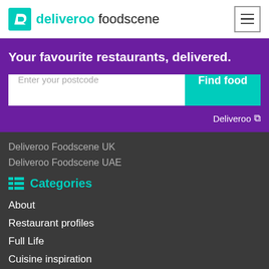deliveroo foodscene
Your favourite restaurants, delivered.
Enter your postcode | Find food
Deliveroo
Deliveroo Foodscene UK
Deliveroo Foodscene UAE
Categories
About
Restaurant profiles
Full Life
Cuisine inspiration
Promotions
Food trends